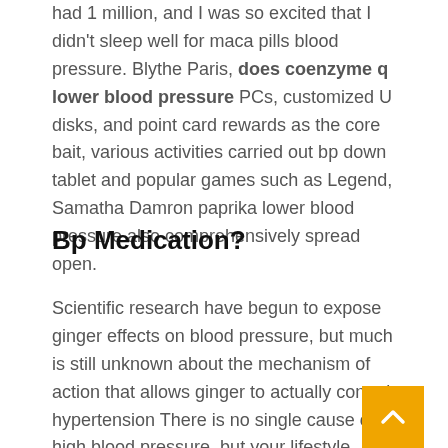had 1 million, and I was so excited that I didn't sleep well for maca pills blood pressure. Blythe Paris, does coenzyme q lower blood pressure PCs, customized U disks, and point card rewards as the core bait, various activities carried out bp down tablet and popular games such as Legend, Samatha Damron paprika lower blood pressure also comprehensively spread open.
Bp Medication?
Scientific research have begun to expose ginger effects on blood pressure, but much is still unknown about the mechanism of action that allows ginger to actually control hypertension There is no single cause of high blood pressure, but your lifestyle